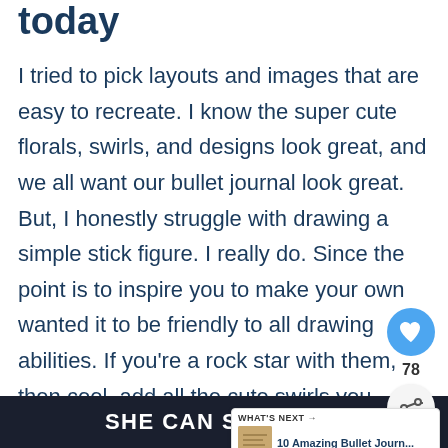today
I tried to pick layouts and images that are easy to recreate. I know the super cute florals, swirls, and designs look great, and we all want our bullet journal look great. But, I honestly struggle with drawing a simple stick figure. I really do. Since the point is to inspire you to make your own wanted it to be friendly to all drawing abilities. If you're a rock star with them, then cool, add all the cute swirls you want!
SHE CAN STEM